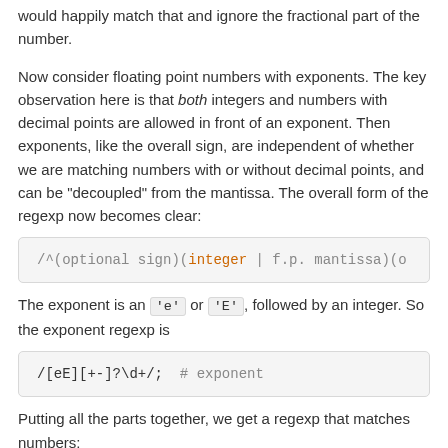would happily match that and ignore the fractional part of the number.
Now consider floating point numbers with exponents. The key observation here is that both integers and numbers with decimal points are allowed in front of an exponent. Then exponents, like the overall sign, are independent of whether we are matching numbers with or without decimal points, and can be "decoupled" from the mantissa. The overall form of the regexp now becomes clear:
/^(optional sign)(integer | f.p. mantissa)(op
The exponent is an 'e' or 'E', followed by an integer. So the exponent regexp is
/[eE][+-]?\d+/;  # exponent
Putting all the parts together, we get a regexp that matches numbers: